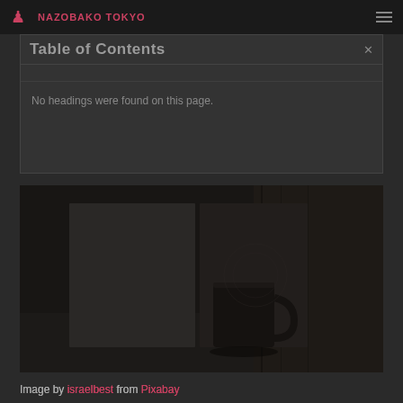NAZOBAKO TOKYO
Table of Contents
No headings were found on this page.
[Figure (photo): Dark photograph of a coffee mug and books/notebooks on a dark wooden surface]
Image by israelbest from Pixabay